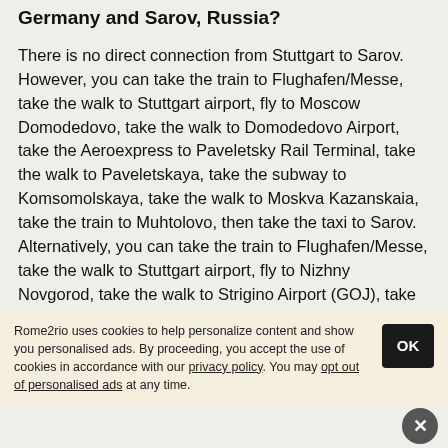Germany and Sarov, Russia?
There is no direct connection from Stuttgart to Sarov. However, you can take the train to Flughafen/Messe, take the walk to Stuttgart airport, fly to Moscow Domodedovo, take the walk to Domodedovo Airport, take the Aeroexpress to Paveletsky Rail Terminal, take the walk to Paveletskaya, take the subway to Komsomolskaya, take the walk to Moskva Kazanskaia, take the train to Muhtolovo, then take the taxi to Sarov. Alternatively, you can take the train to Flughafen/Messe, take the walk to Stuttgart airport, fly to Nizhny Novgorod, take the walk to Strigino Airport (GOJ), take the line 11 bus to Kisileva square, take the walk to
Rome2rio uses cookies to help personalize content and show you personalised ads. By proceeding, you accept the use of cookies in accordance with our privacy policy. You may opt out of personalised ads at any time.